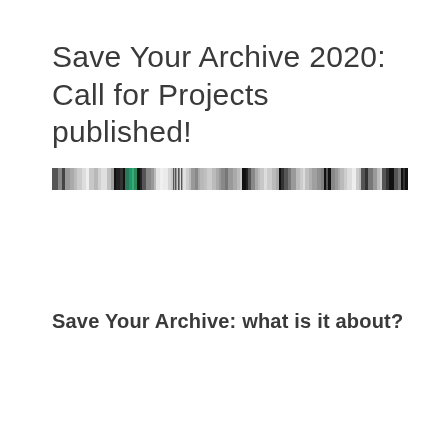Save Your Archive 2020: Call for Projects published!
[Figure (other): A horizontal strip image composed of many narrow vertical bands of varying colors including grays, blacks, greens, and whites, resembling a barcode or pixelated photographic scan.]
Save Your Archive: what is it about?